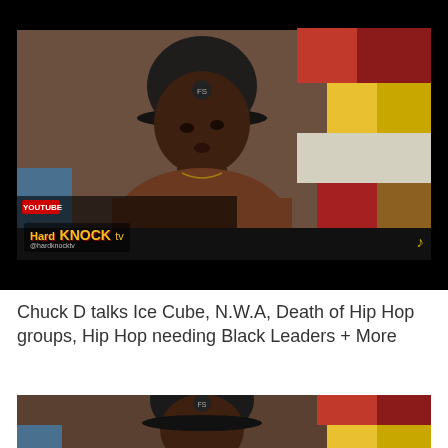[Figure (screenshot): Video thumbnail showing Chuck D (rapper, wearing black cap and brown shirt) being interviewed against a colorful geometric background with colored blocks. Lower third shows 'Hard Knock TV' logo and Grammy logo watermark.]
Chuck D talks Ice Cube, N.W.A, Death of Hip Hop groups, Hip Hop needing Black Leaders + More
[Figure (screenshot): Second video thumbnail (partially visible) showing the same interview setup with Chuck D.]